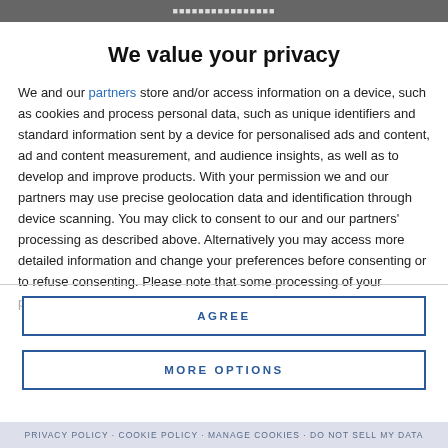We value your privacy
We and our partners store and/or access information on a device, such as cookies and process personal data, such as unique identifiers and standard information sent by a device for personalised ads and content, ad and content measurement, and audience insights, as well as to develop and improve products. With your permission we and our partners may use precise geolocation data and identification through device scanning. You may click to consent to our and our partners' processing as described above. Alternatively you may access more detailed information and change your preferences before consenting or to refuse consenting. Please note that some processing of your personal data may not require your consent, but you have a right to
AGREE
MORE OPTIONS
privacy policy · cookie policy · manage cookies · do not sell my data